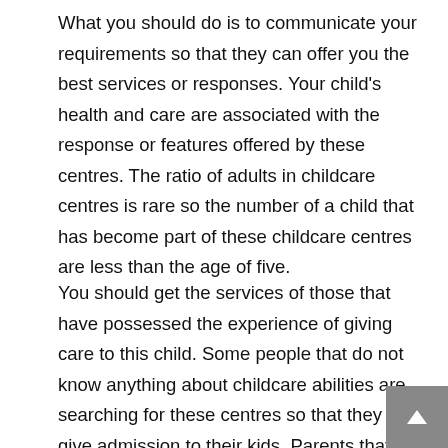What you should do is to communicate your requirements so that they can offer you the best services or responses. Your child's health and care are associated with the response or features offered by these centres. The ratio of adults in childcare centres is rare so the number of a child that has become part of these childcare centres are less than the age of five.
You should get the services of those that have possessed the experience of giving care to this child. Some people that do not know anything about childcare abilities are searching for these centres so that they can give admission to their kids. Parents that are facing a hectic schedule for their work are always trying to take admission in